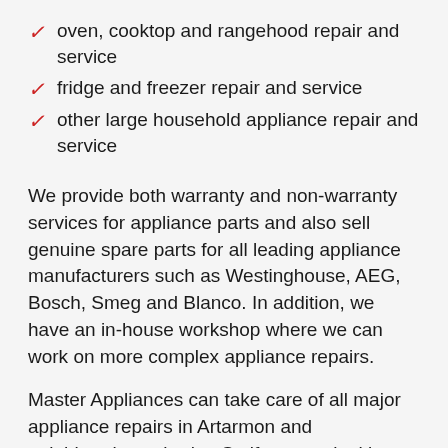oven, cooktop and rangehood repair and service
fridge and freezer repair and service
other large household appliance repair and service
We provide both warranty and non-warranty services for appliance parts and also sell genuine spare parts for all leading appliance manufacturers such as Westinghouse, AEG, Bosch, Smeg and Blanco. In addition, we have an in-house workshop where we can work on more complex appliance repairs.
Master Appliances can take care of all major appliance repairs in Artarmon and neighbouring suburbs. So if you are looking for a friendly appliance repair company you can trust to turn up on time and give you an honest quote for appliance service in the